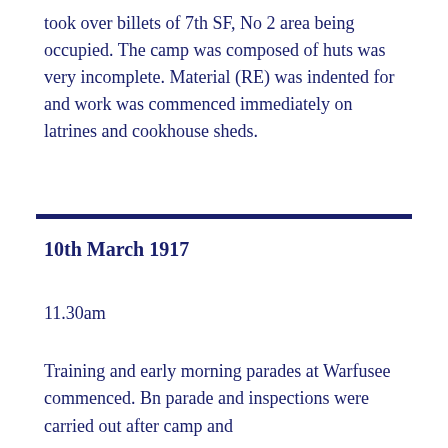took over billets of 7th SF, No 2 area being occupied. The camp was composed of huts was very incomplete. Material (RE) was indented for and work was commenced immediately on latrines and cookhouse sheds.
10th March 1917
11.30am
Training and early morning parades at Warfusee commenced. Bn parade and inspections were carried out after camp and